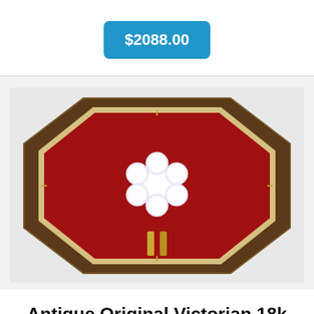$2088.00
[Figure (photo): A Victorian diamond cluster ring displayed in a red velvet octagonal jewelry box with decorative border. The ring features multiple round diamonds arranged in a floral cluster pattern on a gold band.]
Antique Original Victorian 18k Gold